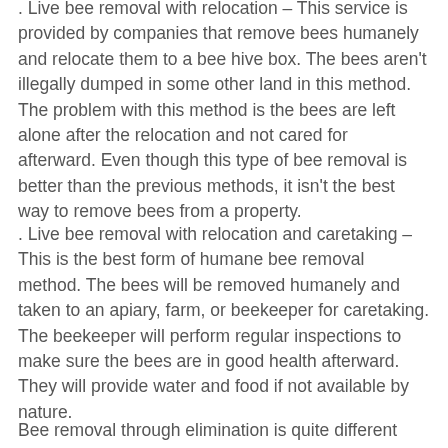. Live bee removal with relocation – This service is provided by companies that remove bees humanely and relocate them to a bee hive box. The bees aren't illegally dumped in some other land in this method. The problem with this method is the bees are left alone after the relocation and not cared for afterward. Even though this type of bee removal is better than the previous methods, it isn't the best way to remove bees from a property.
. Live bee removal with relocation and caretaking – This is the best form of humane bee removal method. The bees will be removed humanely and taken to an apiary, farm, or beekeeper for caretaking. The beekeeper will perform regular inspections to make sure the bees are in good health afterward. They will provide water and food if not available by nature.
Bee removal through elimination is quite different from live